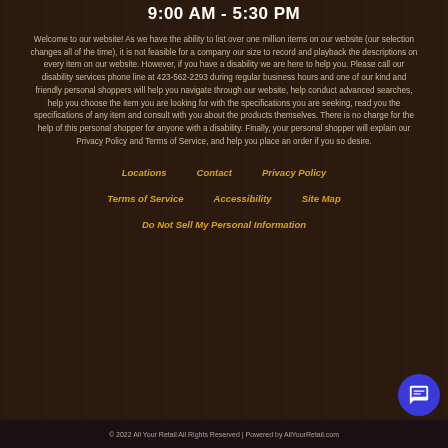9:00 AM - 5:30 PM
Welcome to our website! As we have the ability to list over one million items on our website (our selection changes all of the time), it is not feasible for a company our size to record and playback the descriptions on every item on our website. However, if you have a disability we are here to help you. Please call our disability services phone line at 423-562-2293 during regular business hours and one of our kind and friendly personal shoppers will help you navigate through our website, help conduct advanced searches, help you choose the item you are looking for with the specifications you are seeking, read you the specifications of any item and consult with you about the products themselves. There is no charge for the help of this personal shopper for anyone with a disability. Finally, your personal shopper will explain our Privacy Policy and Terms of Service, and help you place an order if you so desire.
Locations
Contact
Privacy Policy
Terms of Service
Accessibility
Site Map
Do Not Sell My Personal Information
© 2022 All Your Retail All Rights Reserved | Powered by AllYourRetail.com